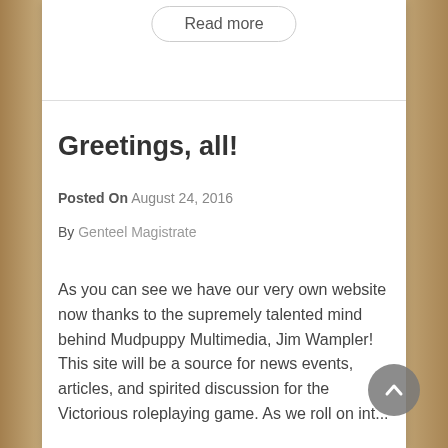Read more
Greetings, all!
Posted On August 24, 2016
By Genteel Magistrate
As you can see we have our very own website now thanks to the supremely talented mind behind Mudpuppy Multimedia, Jim Wampler! This site will be a source for news events, articles, and spirited discussion for the Victorious roleplaying game. As we roll on int...